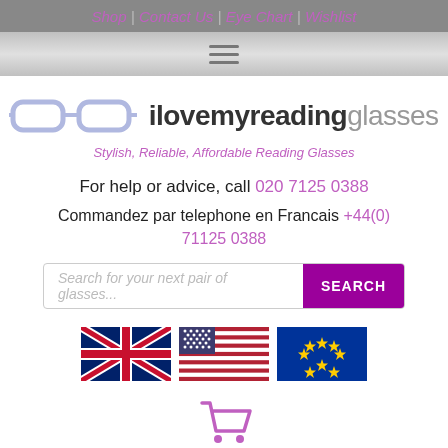Shop | Contact Us | Eye Chart | Wishlist
[Figure (screenshot): Hamburger menu icon (three horizontal lines)]
[Figure (logo): ilovemyreadingglasses logo with glasses illustration and text]
Stylish, Reliable, Affordable Reading Glasses
For help or advice, call 020 7125 0388
Commandez par telephone en Francais +44(0) 71125 0388
[Figure (screenshot): Search bar with placeholder 'Search for your next pair of glasses...' and purple SEARCH button]
[Figure (illustration): UK flag, US flag, and EU flag icons]
[Figure (illustration): Shopping cart icon in purple]